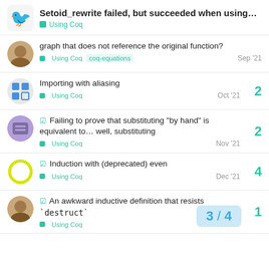Setoid_rewrite failed, but succeeded when using... | Using Coq
graph that does not reference the original function?
Using Coq  coq-equations  Sep '21
Importing with aliasing
Using Coq  Oct '21  2
✓ Failing to prove that substituting "by hand" is equivalent to… well, substituting
Using Coq  Nov '21  2
✓ Induction with (deprecated) even
Using Coq  Dec '21  4
✓ An awkward inductive definition that resists `destruct`
Using Coq  3 / 4  1